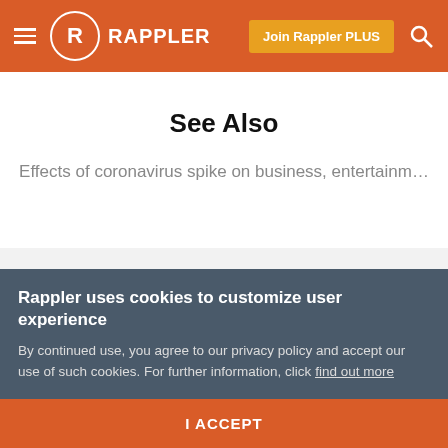RAPPLER | Join Rappler PLUS
See Also
Effects of coronavirus spike on business, entertainm…
Subscribe
Rappler uses cookies to customize user experience
By continued use, you agree to our privacy policy and accept our use of such cookies. For further information, click find out more
I ACCEPT